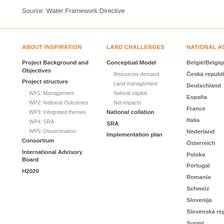Source: Water Framework Directive
ABOUT INSPIRATION
Project Background and Objectives
Project structure
WP1: Management
WP2: National Outcomes
WP3: Integrated themes
WP4: SRA
WP5: Dissemination
Consortium
International Advisory Board
H2020
LAND CHALLENGES
Conceptual Model
Resources demand
Land management
Natural capital
Net impacts
National collation
SRA
Implementation plan
NATIONAL ACTIVITIES
België/Belgique
Česká republika
Deutschland
España
France
Italia
Nederland
Österreich
Polska
Portugal
Romania
Schweiz
Slovenija
Slovenská republika
Suomi